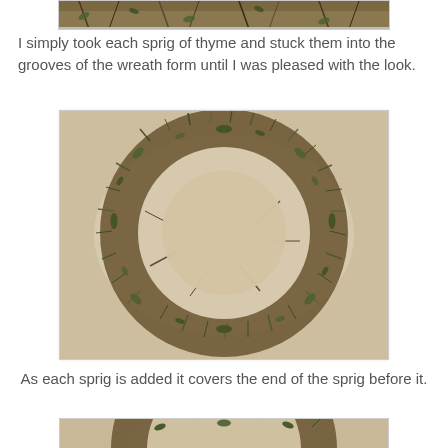[Figure (photo): Partial top view of thyme wreath or herb arrangement, cropped at top of page]
I simply took each sprig of thyme and stuck them into the grooves of the wreath form until I was pleased with the look.
[Figure (photo): Circular thyme herb wreath on a light beige background, showing green and brown sprigs arranged in a ring shape]
As each sprig is added it covers the end of the sprig before it.
[Figure (photo): Another view of the thyme herb wreath, partially visible at bottom of page]